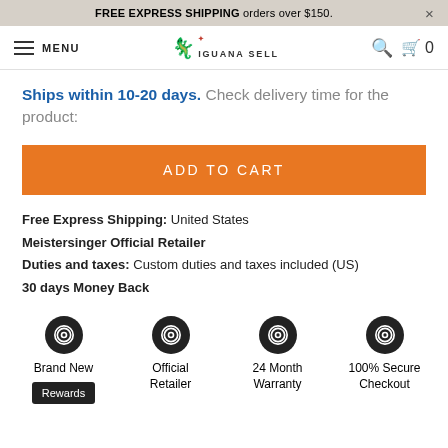FREE EXPRESS SHIPPING orders over $150. ×
MENU | Iguana Sell | 🔍 🛒 0
Ships within 10-20 days. Check delivery time for the product:
ADD TO CART
Free Express Shipping: United States
Meistersinger Official Retailer
Duties and taxes: Custom duties and taxes included (US)
30 days Money Back
[Figure (infographic): Four icons in circles: Brand New, Official Retailer, 24 Month Warranty, 100% Secure Checkout. Each icon is a circular badge design in black.]
Rewards